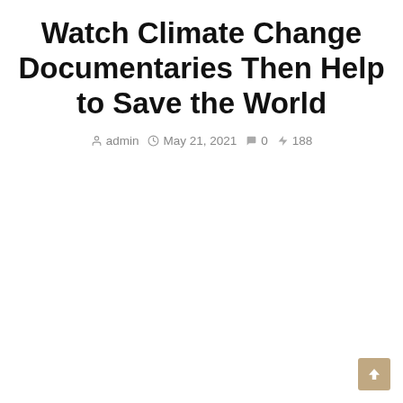Watch Climate Change Documentaries Then Help to Save the World
admin  May 21, 2021  0  188